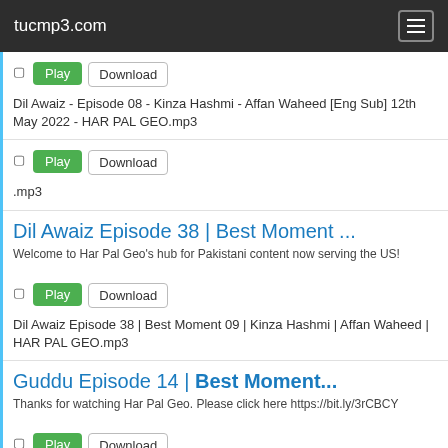tucmp3.com
Dil Awaiz - Episode 08 - Kinza Hashmi - Affan Waheed [Eng Sub] 12th May 2022 - HAR PAL GEO.mp3
.mp3
Dil Awaiz Episode 38 | Best Moment ...
Welcome to Har Pal Geo's hub for Pakistani content now serving the US!
Dil Awaiz Episode 38 | Best Moment 09 | Kinza Hashmi | Affan Waheed | HAR PAL GEO.mp3
Guddu Episode 14 | Best Moment...
Thanks for watching Har Pal Geo. Please click here https://bit.ly/3rCBCY
Guddu Episode 14 | Best Moment 05 | Ali Abbas | Fatima Effendi | Sohail Sameer | HAR PAL